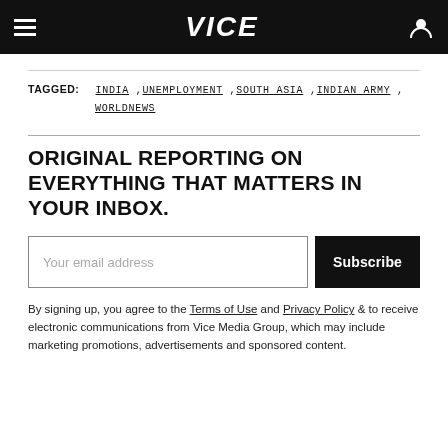VICE
TAGGED: INDIA, UNEMPLOYMENT, SOUTH ASIA, INDIAN ARMY, WORLDNEWS
ORIGINAL REPORTING ON EVERYTHING THAT MATTERS IN YOUR INBOX.
Your email address [input] Subscribe [button]
By signing up, you agree to the Terms of Use and Privacy Policy & to receive electronic communications from Vice Media Group, which may include marketing promotions, advertisements and sponsored content.